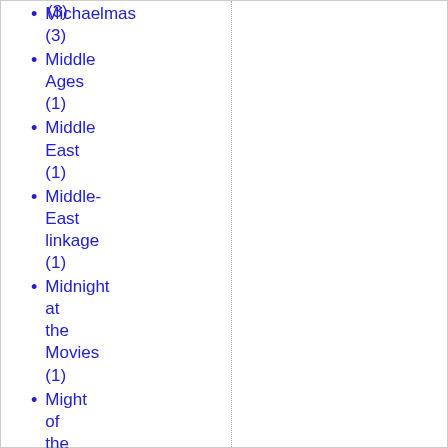(3) [partial, top of page]
Michaelmas (3)
Middle Ages (1)
Middle East (1)
Middle-East linkage (1)
Midnight at the Movies (1)
Might of the West (1)
Miguel Cabrera (1)